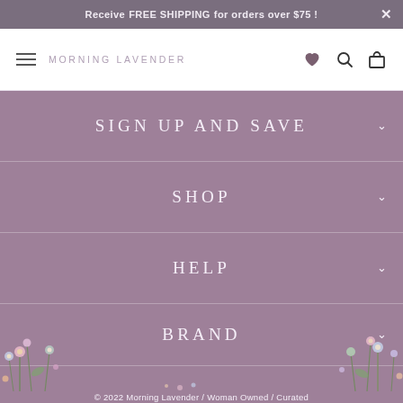Receive FREE SHIPPING for orders over $75 !
MORNING LAVENDER
SIGN UP AND SAVE
SHOP
HELP
BRAND
© 2022 Morning Lavender / Woman Owned / Curated